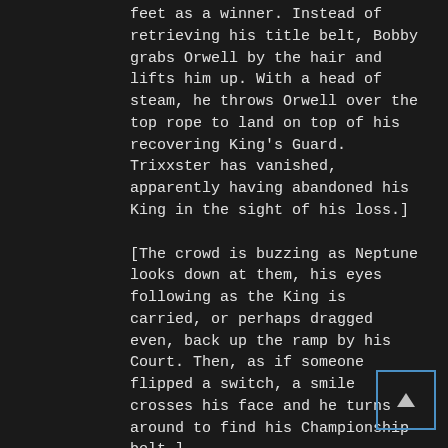feet as a winner. Instead of retrieving his title belt, Bobby grabs Orwell by the hair and lifts him up. With a head of steam, he throws Orwell over the top rope to land on top of his recovering King's Guard. Trixxster has vanished, apparently having abandoned his King in the sight of his loss.]
[The crowd is buzzing as Neptune looks down at them, his eyes following as the King is carried, or perhaps dragged even, back up the ramp by his Court. Then, as if someone flipped a switch, a smile crosses his face and he turns around to find his Championship belt.]
[THWACK!]
[His belt found him, but not in the way he intended! He has been nailed in the head with it by none other than ANNA GOODCHILD! She